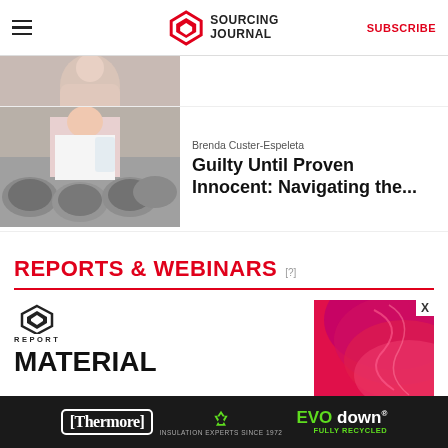SOURCING JOURNAL | SUBSCRIBE
[Figure (photo): Partial view of a person with arms crossed, cropped at top of page]
Brenda Custer-Espeleta
Guilty Until Proven Innocent: Navigating the...
[Figure (photo): Factory worker in pink shirt handling textile spools of grey yarn]
REPORTS & WEBINARS
[Figure (logo): Sourcing Journal logo with REPORT badge]
MATERIAL
[Figure (photo): Pink/magenta layered material texture, partially visible on right side]
[Figure (photo): Thermore EVO down advertisement banner at bottom of page]